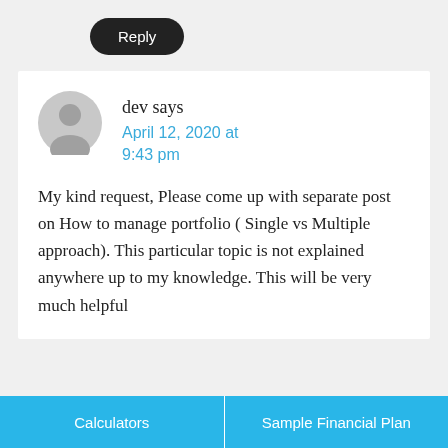Reply
dev says
April 12, 2020 at 9:43 pm
My kind request, Please come up with separate post on How to manage portfolio ( Single vs Multiple approach). This particular topic is not explained anywhere up to my knowledge. This will be very much helpful
Calculators    Sample Financial Plan